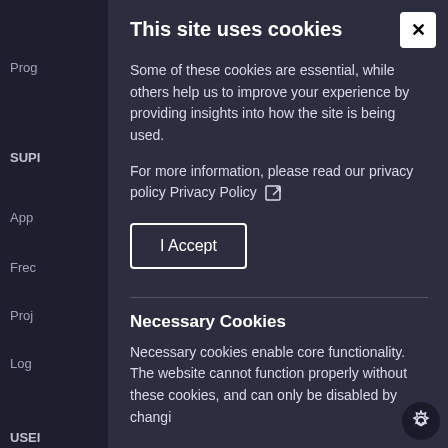This site uses cookies
Some of these cookies are essential, while others help us to improve your experience by providing insights into how the site is being used.
For more information, please read our privacy policy Privacy Policy
I Accept
Necessary Cookies
Necessary cookies enable core functionality. The website cannot function properly without these cookies, and can only be disabled by changi